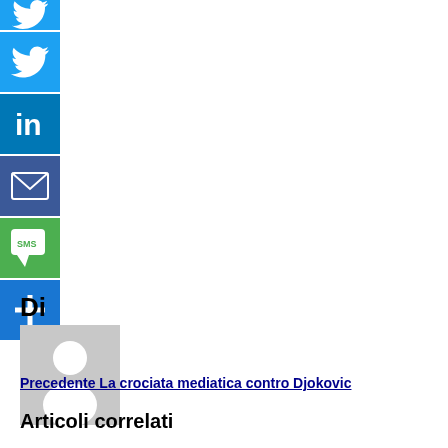[Figure (infographic): Social media share buttons sidebar: Twitter (blue bird icon), Twitter (blue bird icon), LinkedIn (blue 'in' icon), Email (blue envelope icon), SMS (green speech bubble icon), More/Plus (blue plus icon)]
Di
[Figure (photo): Generic user avatar placeholder image - grey background with white silhouette of a person]
Precedente La crociata mediatica contro Djokovic
Articoli correlati